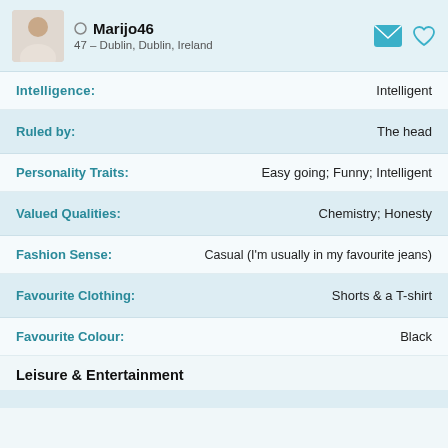Marijo46 – 47 – Dublin, Dublin, Ireland
Intelligence: Intelligent
Ruled by: The head
Personality Traits: Easy going; Funny; Intelligent
Valued Qualities: Chemistry; Honesty
Fashion Sense: Casual (I'm usually in my favourite jeans)
Favourite Clothing: Shorts & a T-shirt
Favourite Colour: Black
Leisure & Entertainment